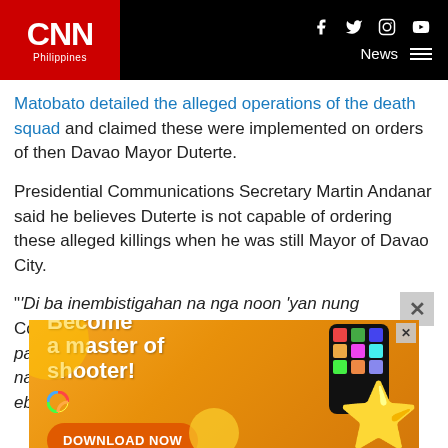CNN Philippines — News
Matobato detailed the alleged operations of the death squad and claimed these were implemented on orders of then Davao Mayor Duterte.
Presidential Communications Secretary Martin Andanar said he believes Duterte is not capable of ordering these alleged killings when he was still Mayor of Davao City.
"'Di ba inembistigahan na nga noon 'yan nung Commission on Human Rights noong sinaunang panahon, nung Mayor pa ho si Pangulo at wala namang charge, wala naman silang nakita direktang ebidensya," Andanar said in a press briefing in
[Figure (screenshot): Advertisement banner: orange background with text 'Become a master of shooter!' and 'DOWNLOAD NOW' button, with cartoon pink star character and colorful icons]